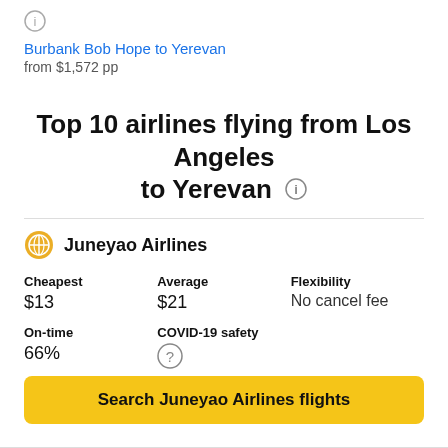Burbank Bob Hope to Yerevan
from $1,572 pp
Top 10 airlines flying from Los Angeles to Yerevan
Juneyao Airlines
| Cheapest | Average | Flexibility |
| --- | --- | --- |
| $13 | $21 | No cancel fee |
| On-time | COVID-19 safety |
| --- | --- |
| 66% | ? |
Search Juneyao Airlines flights